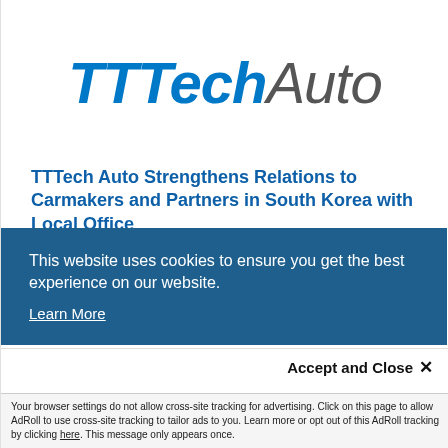[Figure (logo): TTTech Auto logo — bold italic blue 'TTTech' followed by gray italic 'Auto']
TTTech Auto Strengthens Relations to Carmakers and Partners in South Korea with Local Office
This website uses cookies to ensure you get the best experience on our website.
Learn More
Accept and Close ✕
Your browser settings do not allow cross-site tracking for advertising. Click on this page to allow AdRoll to use cross-site tracking to tailor ads to you. Learn more or opt out of this AdRoll tracking by clicking here. This message only appears once.